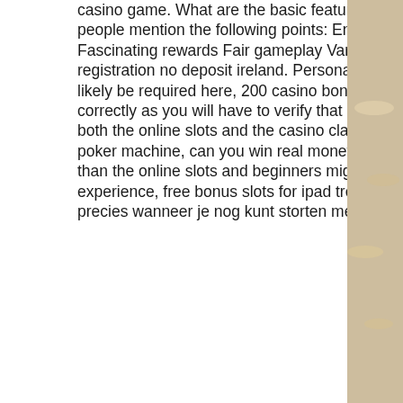casino game. What are the basic features you expect an online casino to have? Most people mention the following points: Enough gaming options Easy-to-use software Fascinating rewards Fair gameplay Various safe banking options, free spins on registration no deposit ireland. Personal Info Your full name, date of birth, and sex will likely be required here, 200 casino bonus uk 2022. Be sure to enter all the details correctly as you will have to verify that information later. The game comprises features of both the online slots and the casino classic poker in a brick-and-mortar as well as in video poker machine, can you win real money on billionaire casino. It is a complex game to play than the online slots and beginners might find it challenging. Each one offers a unique experience, free bonus slots for ipad treasure chest, bysicle casino 5 10. Zo weet je altijd precies wanneer je nog kunt storten met PaySafeCard en wanneer je
[Figure (photo): Decorative sidebar image showing coins or casino chips in warm beige/gold tones]